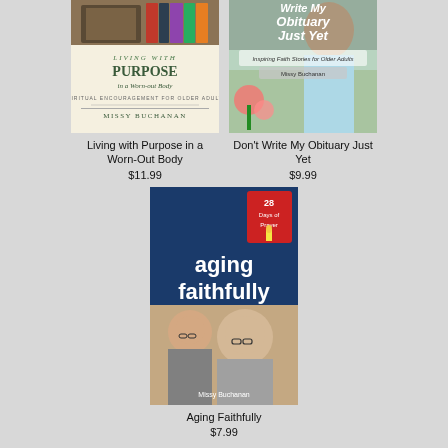[Figure (photo): Book cover: Living with Purpose in a Worn-Out Body by Missy Buchanan]
Living with Purpose in a Worn-Out Body
$11.99
[Figure (photo): Book cover: Don't Write My Obituary Just Yet by Missy Buchanan]
Don't Write My Obituary Just Yet
$9.99
[Figure (photo): Book cover: Aging Faithfully - 28 Days of Prayer by Missy Buchanan]
Aging Faithfully
$7.99